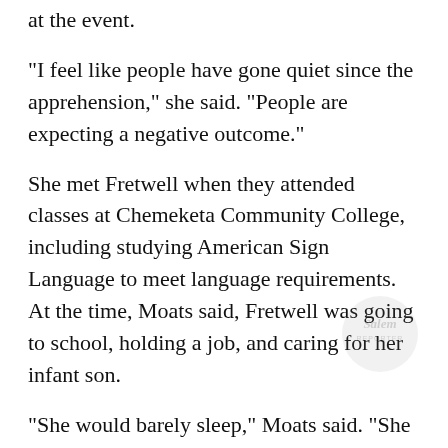at the event.
“I feel like people have gone quiet since the apprehension,” she said. “People are expecting a negative outcome.”
She met Fretwell when they attended classes at Chemeketa Community College, including studying American Sign Language to meet language requirements. At the time, Moats said, Fretwell was going to school, holding a job, and caring for her infant son.
“She would barely sleep,” Moats said. “She was pretty amazing.”
Moats said Fretwell was “very strong willed
[Figure (logo): Salem Reporter watermark logo in bottom right corner]